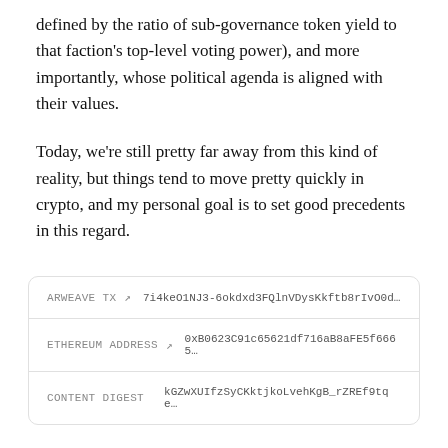defined by the ratio of sub-governance token yield to that faction's top-level voting power), and more importantly, whose political agenda is aligned with their values.
Today, we're still pretty far away from this kind of reality, but things tend to move pretty quickly in crypto, and my personal goal is to set good precedents in this regard.
| Field | Value |
| --- | --- |
| ARWEAVE TX ↗ | 7i4keO1NJ3-6okdxd3FQlnVDysKkftb8rIvO0d... |
| ETHEREUM ADDRESS ↗ | 0xB0623C91c65621df716aB8aFE5f6665... |
| CONTENT DIGEST | kGZwXUIfzSyCKktjkoLvehKgB_rZREf9tqe... |